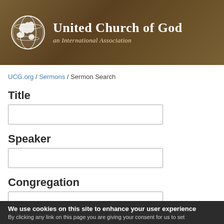United Church of God an International Association
UCG.org / Sermons / Sermon Search
Title
Speaker
Congregation
We use cookies on this site to enhance your user experience
By clicking any link on this page you are giving your consent for us to set